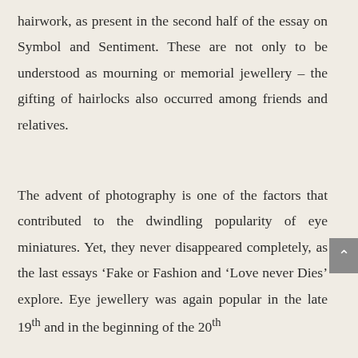hairwork, as present in the second half of the essay on Symbol and Sentiment. These are not only to be understood as mourning or memorial jewellery – the gifting of hairlocks also occurred among friends and relatives.
The advent of photography is one of the factors that contributed to the dwindling popularity of eye miniatures. Yet, they never disappeared completely, as the last essays 'Fake or Fashion and 'Love never Dies' explore. Eye jewellery was again popular in the late 19th and in the beginning of the 20th